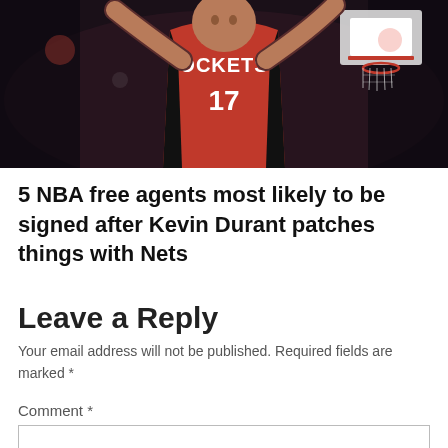[Figure (photo): Basketball player wearing Houston Rockets red jersey number 17, arms raised, with basketball hoop visible in background. Dark arena lighting.]
5 NBA free agents most likely to be signed after Kevin Durant patches things with Nets
Leave a Reply
Your email address will not be published. Required fields are marked *
Comment *